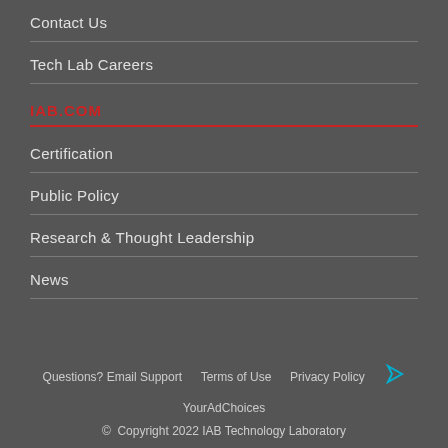Contact Us
Tech Lab Careers
IAB.COM
Certification
Public Policy
Research & Thought Leadership
News
Questions? Email Support   Terms of Use   Privacy Policy   YourAdChoices   © Copyright 2022 IAB Technology Laboratory